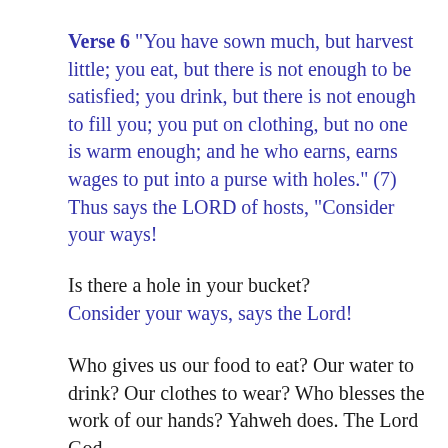Verse 6  "You have sown much, but harvest little; you eat, but there is not enough to be satisfied; you drink, but there is not enough to fill you; you put on clothing, but no one is warm enough; and he who earns, earns wages to put into a purse with holes."  (7)  Thus says the LORD of hosts, "Consider your ways!
Is there a hole in your bucket?
Consider your ways, says the Lord!
Who gives us our food to eat? Our water to drink? Our clothes to wear? Who blesses the work of our hands? Yahweh does. The Lord God